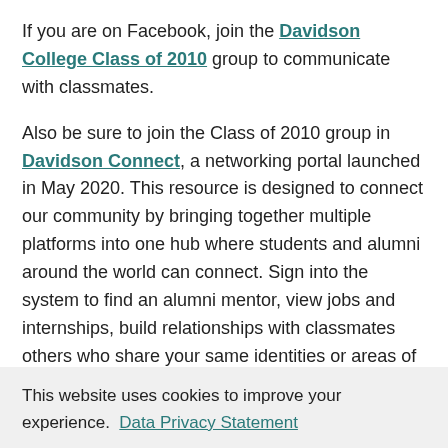If you are on Facebook, join the Davidson College Class of 2010 group to communicate with classmates.
Also be sure to join the Class of 2010 group in Davidson Connect, a networking portal launched in May 2020. This resource is designed to connect our community by bringing together multiple platforms into one hub where students and alumni around the world can connect. Sign into the system to find an alumni mentor, view jobs and internships, build relationships with classmates others who share your same identities or areas of interest, and connect with fellow students and alumni in your industry.
Class Gift
This website uses cookies to improve your experience.  Data Privacy Statement